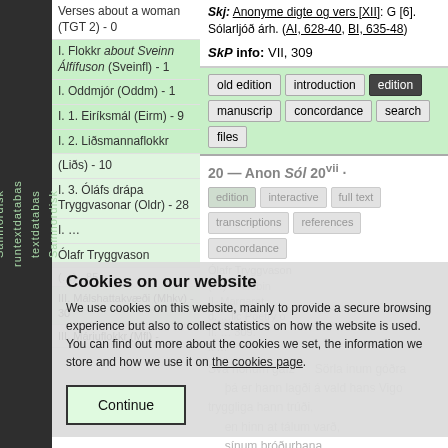Samnordisk textdatabas runtextdatabas Samnordisk
Verses about a woman (TGT 2) - 0
I. Flokkr about Sveinn Álfífuson (Sveinfl) - 1
I. Oddmjór (Oddm) - 1
I. 1. Eiríksmál (Eirm) - 9
I. 2. Liðsmannaflokkr (Liðs) - 10
I. 3. Óláfs drápa Tryggvasonar (Oldr) - 28
Skj: Anonyme digte og vers [XII]: G [6]. Sólarljóð árh. (AI, 628-40, BI, 635-48)
SkP info: VII, 309
old edition | introduction | edition | manuscripts | concordance | search | files
20 — Anon Sól 20
edition | interactive | full text | transcriptions | references | concordance
Cookies on our website
We use cookies on this website, mainly to provide a secure browsing experience but also to collect statistics on how the website is used. You can find out more about the cookies we set, the information we store and how we use it on the cookies page.
Continue
Svá honum gafz    Sörla inum góðra
    þá er hann lagði á vald hans Vigo
tryggliga hann trúði,
    en hinn at tálum varð,
    sínum bróðurbana.